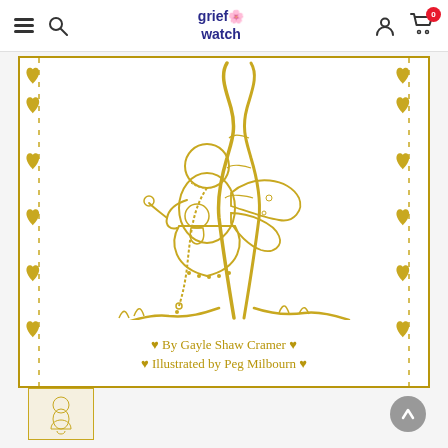grief watch — navigation bar
[Figure (illustration): Book cover for a grief/bereavement children's book. A golden-toned pencil illustration of a fairy girl with butterfly wings and braided hair hugging a large tree, holding a small doll, surrounded by a decorative gold heart border on left and right sides. Text at bottom reads: ♥ By Gayle Shaw Cramer ♥ / ♥ Illustrated by Peg Milbourn ♥]
♥ By Gayle Shaw Cramer ♥
♥ Illustrated by Peg Milbourn ♥